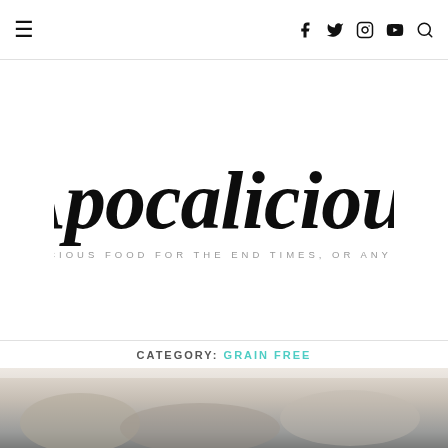≡  f  Twitter  Instagram  YouTube  Search
[Figure (logo): Apocalicious logo — large handwritten-style black text reading 'Apocalicious' with tagline 'DELICIOUS FOOD FOR THE END TIMES, OR ANY TIME']
CATEGORY: GRAIN FREE
[Figure (photo): Partial photo at bottom of page, blurred/cropped, showing what appears to be food items]